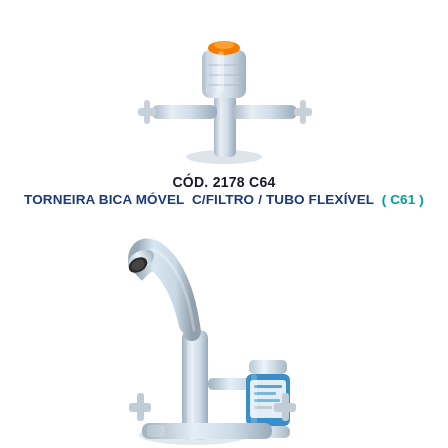[Figure (photo): Chrome kitchen faucet with orange-topped water filter attachment, cross handles, viewed from above/front, on white background]
CÓD. 2178 C64
TORNEIRA BICA MÓVEL C/FILTRO / TUBO FLEXÍVEL ( C61 )
[Figure (photo): Chrome kitchen faucet with flexible gooseneck spout and blue cylindrical water filter canister attached to the body, cross handles at base, on white background]